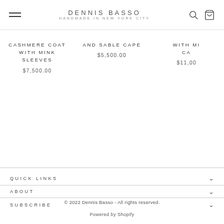DENNIS BASSO — HANDMADE IN NEW YORK CITY
CASHMERE COAT WITH MINK SLEEVES
$7,500.00
AND SABLE CAPE
$5,500.00
WITH MI... CA...
$11,00...
QUICK LINKS
ABOUT
SUBSCRIBE
© 2022 Dennis Basso - All rights reserved.
Powered by Shopify